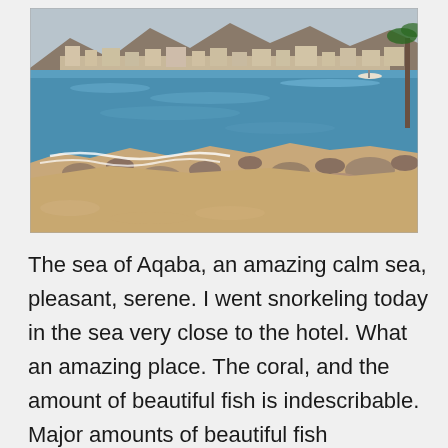[Figure (photo): Coastal beach scene at the Sea of Aqaba showing rocky shoreline with gentle waves, sandy and rocky beach in foreground, blue-green calm water, and a town with buildings and mountains visible in the background.]
The sea of Aqaba, an amazing calm sea, pleasant, serene. I went snorkeling today in the sea very close to the hotel. What an amazing place. The coral, and the amount of beautiful fish is indescribable. Major amounts of beautiful fish swimming an arms lengths away. There isn't any comparison to Hawaii. What a pleasant treat to be able to see such beauty. Tomorrow I am going